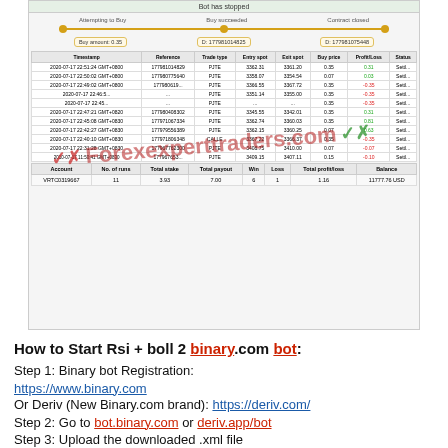[Figure (screenshot): Screenshot of a trading bot interface showing bot status (Bot has stopped), timeline with Attempting to Buy, Buy succeeded, Contract closed stages, buy amount 0.35, trade history table with timestamps, references, trade types (PJTE/CALLE), entry/exit spots, buy price, profit/loss, status columns. Summary row showing Account VRTC0319667, 11 runs, total stake 3.93, total payout 7.00, 6 wins, 1 loss, total profit/loss 1.16, balance 11777.76 USD. Red/green checkmark watermark with text Forexexperttraders.com]
How to Start Rsi + boll 2 binary.com bot:
Step 1: Binary bot Registration:
https://www.binary.com
Or Deriv (New Binary.com brand): https://deriv.com/
Step 2: Go to bot.binary.com or deriv.app/bot
Step 3: Upload the downloaded .xml file
Step 4: Run the bot